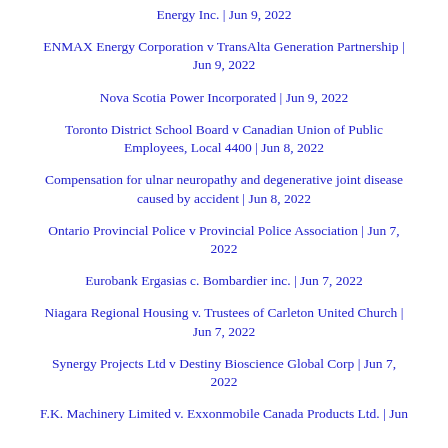Energy Inc. | Jun 9, 2022
ENMAX Energy Corporation v TransAlta Generation Partnership | Jun 9, 2022
Nova Scotia Power Incorporated | Jun 9, 2022
Toronto District School Board v Canadian Union of Public Employees, Local 4400 | Jun 8, 2022
Compensation for ulnar neuropathy and degenerative joint disease caused by accident | Jun 8, 2022
Ontario Provincial Police v Provincial Police Association | Jun 7, 2022
Eurobank Ergasias c. Bombardier inc. | Jun 7, 2022
Niagara Regional Housing v. Trustees of Carleton United Church | Jun 7, 2022
Synergy Projects Ltd v Destiny Bioscience Global Corp | Jun 7, 2022
F.K. Machinery Limited v. Exxonmobile Canada Products Ltd. | Jun